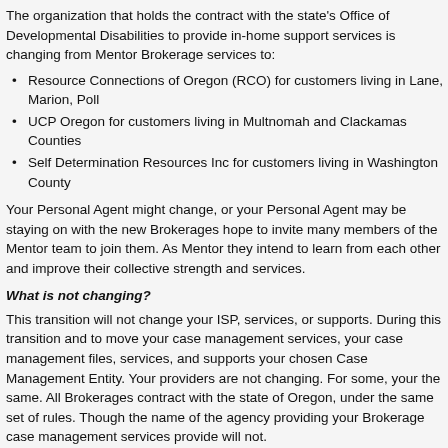The organization that holds the contract with the state's Office of Developmental Disability Services to provide in-home support services is changing from Mentor Brokerage services to:
Resource Connections of Oregon (RCO) for customers living in Lane, Marion, Polk, and other Counties
UCP Oregon for customers living in Multnomah and Clackamas Counties
Self Determination Resources Inc for customers living in Washington County
Your Personal Agent might change, or your Personal Agent may be staying on with the new Brokerage. The new Brokerages hope to invite many members of the Mentor team to join them. As Mentor transfers and as Brokerages, they intend to learn from each other and improve their collective strength and services.
What is not changing?
This transition will not change your ISP, services, or supports. During this transition all Brokerages are required to move your case management services, your case management files, services, and supports to you or to you and your chosen Case Management Entity. Your providers are not changing. For some, your Personal Agent will stay the same. All Brokerages contract with the state of Oregon, under the same set of rules and responsibilities. Though the name of the agency providing your Brokerage case management services may change, what they provide will not.
What are my options?
Choice is assured at every Brokerage and CDDP: Choice of available Case Management Entities and choice of available case management staff. You can make that choice or change your selection at any time.